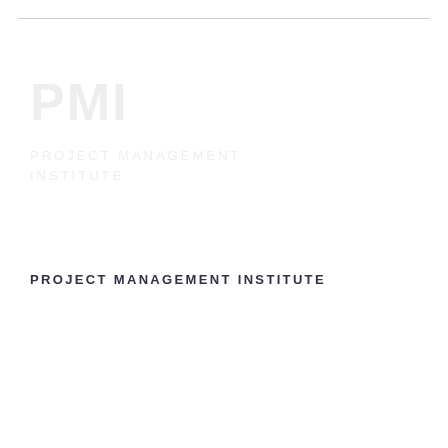[Figure (logo): Project Management Institute logo watermark, faded/light in upper portion of page]
PROJECT MANAGEMENT INSTITUTE